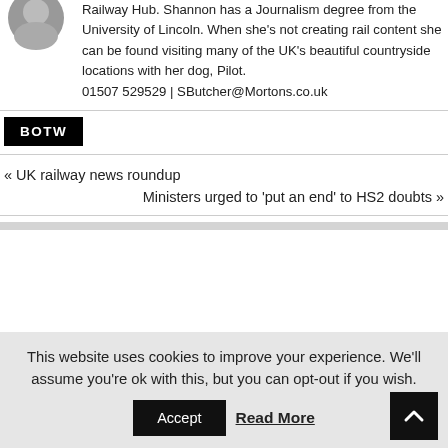Railway Hub. Shannon has a Journalism degree from the University of Lincoln. When she's not creating rail content she can be found visiting many of the UK's beautiful countryside locations with her dog, Pilot. 01507 529529 | SButcher@Mortons.co.uk
BOTW
« UK railway news roundup
Ministers urged to 'put an end' to HS2 doubts »
This website uses cookies to improve your experience. We'll assume you're ok with this, but you can opt-out if you wish.